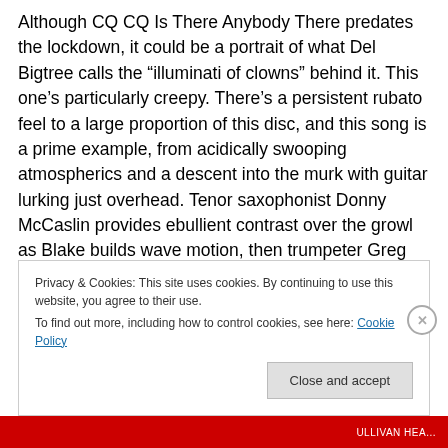Although CQ CQ Is There Anybody There predates the lockdown, it could be a portrait of what Del Bigtree calls the “illuminati of clowns” behind it. This one’s particularly creepy. There’s a persistent rubato feel to a large proportion of this disc, and this song is a prime example, from acidically swooping atmospherics and a descent into the murk with guitar lurking just overhead. Tenor saxophonist Donny McCaslin provides ebullient contrast over the growl as Blake builds wave motion, then trumpeter Greg Gisbert and his pedal become a one-man cheer section for impending doom as the orchestra fall in
Privacy & Cookies: This site uses cookies. By continuing to use this website, you agree to their use.
To find out more, including how to control cookies, see here: Cookie Policy